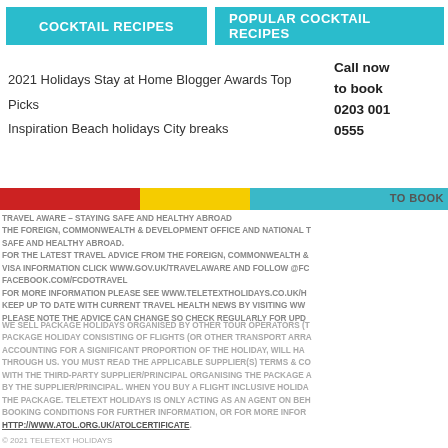COCKTAIL RECIPES | POPULAR COCKTAIL RECIPES
Call now to book 0203 001 0555
2021 Holidays Stay at Home Blogger Awards Top Picks Inspiration Beach holidays City breaks
to book
TRAVEL AWARE – STAYING SAFE AND HEALTHY ABROAD THE FOREIGN, COMMONWEALTH & DEVELOPMENT OFFICE AND NATIONAL T SAFE AND HEALTHY ABROAD. FOR THE LATEST TRAVEL ADVICE FROM THE FOREIGN, COMMONWEALTH & VISA INFORMATION CLICK WWW.GOV.UK/TRAVELAWARE AND FOLLOW @FC FACEBOOK.COM/FCDOTRAVEL FOR MORE INFORMATION PLEASE SEE WWW.TELETEXTHOLIDAYS.CO.UK/H KEEP UP TO DATE WITH CURRENT TRAVEL HEALTH NEWS BY VISITING WW PLEASE NOTE THE ADVICE CAN CHANGE SO CHECK REGULARLY FOR UPD
WE SELL PACKAGE HOLIDAYS ORGANISED BY OTHER TOUR OPERATORS (T PACKAGE HOLIDAY CONSISTING OF FLIGHTS (OR OTHER TRANSPORT ARRA ACCOUNTING FOR A SIGNIFICANT PROPORTION OF THE HOLIDAY, WILL HA THROUGH US. YOU MUST READ THE APPLICABLE SUPPLIER(S) TERMS & CO WITH THE THIRD-PARTY SUPPLIER/PRINCIPAL ORGANISING THE PACKAGE A BY THE SUPPLIER/PRINCIPAL. WHEN YOU BUY A FLIGHT INCLUSIVE HOLIDA THE PACKAGE. TELETEXT HOLIDAYS IS ONLY ACTING AS AN AGENT ON BEH BOOKING CONDITIONS FOR FURTHER INFORMATION, OR FOR MORE INFOR HTTP://WWW.ATOL.ORG.UK/ATOLCERTIFICATE.
© 2021 TELETEXT HOLIDAYS